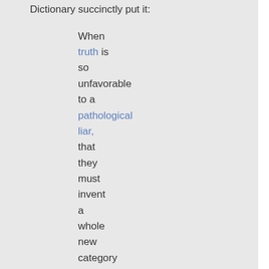Dictionary succinctly put it:
When truth is so unfavorable to a pathological liar, that they must invent a whole new category of lies to describe their nakedly intentional acts of deception.
I have a simple question.
Is this what the next four years or God forbid, the next eight